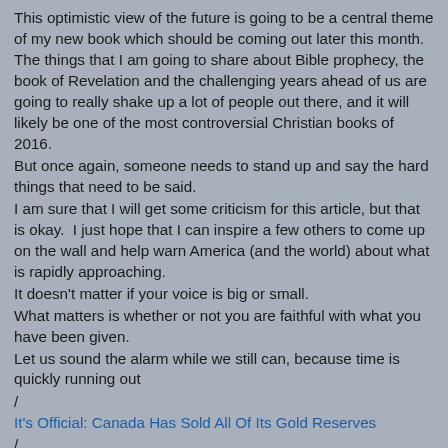This optimistic view of the future is going to be a central theme of my new book which should be coming out later this month.  The things that I am going to share about Bible prophecy, the book of Revelation and the challenging years ahead of us are going to really shake up a lot of people out there, and it will likely be one of the most controversial Christian books of 2016.
But once again, someone needs to stand up and say the hard things that need to be said.
I am sure that I will get some criticism for this article, but that is okay.  I just hope that I can inspire a few others to come up on the wall and help warn America (and the world) about what is rapidly approaching.
It doesn't matter if your voice is big or small.
What matters is whether or not you are faithful with what you have been given.
Let us sound the alarm while we still can, because time is quickly running out
/
It's Official: Canada Has Sold All Of Its Gold Reserves
/
Over 80,000 People Want Bill Clinton Arrested For Violating Election Laws, Says Supreme Court...